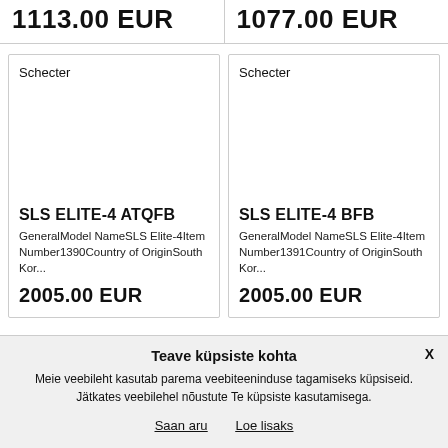1113.00 EUR
1077.00 EUR
Schecter
Schecter
SLS ELITE-4 ATQFB
GeneralModel NameSLS Elite-4Item Number1390Country of OriginSouth Kor...
2005.00 EUR
SLS ELITE-4 BFB
GeneralModel NameSLS Elite-4Item Number1391Country of OriginSouth Kor...
2005.00 EUR
Teave küpsiste kohta
Meie veebileht kasutab parema veebiteeninduse tagamiseks küpsiseid. Jätkates veebilehel nõustute Te küpsiste kasutamisega.
Saan aru
Loe lisaks